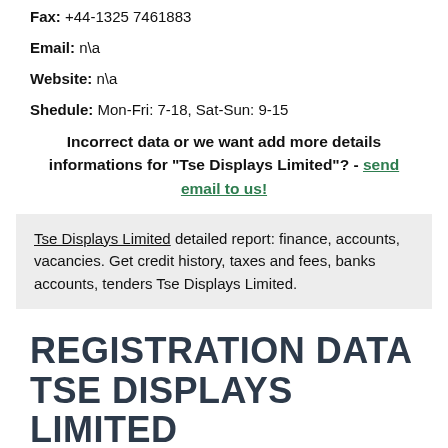Fax: +44-1325 7461883
Email: n\a
Website: n\a
Shedule: Mon-Fri: 7-18, Sat-Sun: 9-15
Incorrect data or we want add more details informations for "Tse Displays Limited"? - send email to us!
Tse Displays Limited detailed report: finance, accounts, vacancies. Get credit history, taxes and fees, banks accounts, tenders Tse Displays Limited.
REGISTRATION DATA TSE DISPLAYS LIMITED
Register date: 2012-08-13